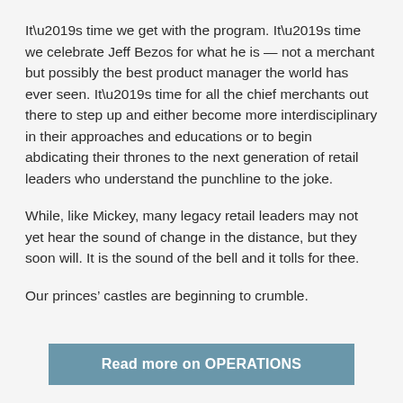It’s time we get with the program. It’s time we celebrate Jeff Bezos for what he is — not a merchant but possibly the best product manager the world has ever seen. It’s time for all the chief merchants out there to step up and either become more interdisciplinary in their approaches and educations or to begin abdicating their thrones to the next generation of retail leaders who understand the punchline to the joke.
While, like Mickey, many legacy retail leaders may not yet hear the sound of change in the distance, but they soon will. It is the sound of the bell and it tolls for thee.
Our princes’ castles are beginning to crumble.
Read more on OPERATIONS